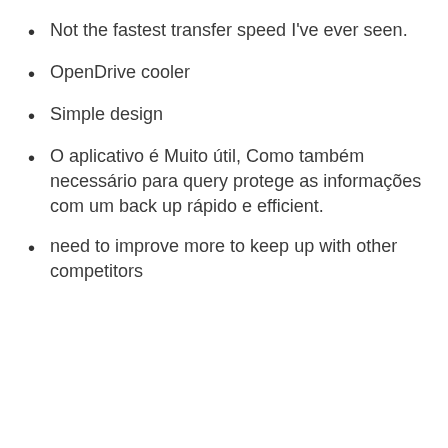Not the fastest transfer speed I've ever seen.
OpenDrive cooler
Simple design
O aplicativo é Muito útil, Como também necessário para query protege as informações com um back up rápido e efficient.
need to improve more to keep up with other competitors